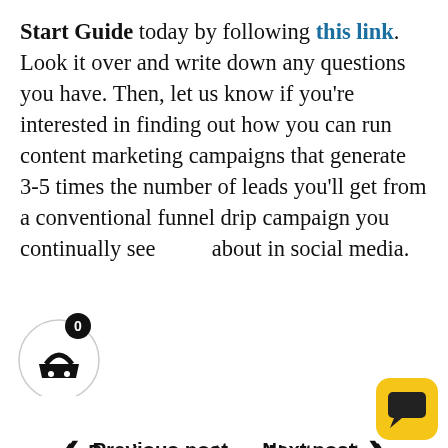Start Guide today by following this link. Look it over and write down any questions you have. Then, let us know if you're interested in finding out how you can run content marketing campaigns that generate 3-5 times the number of leads you'll get from a conventional funnel drip campaign you continually see about in social media.
[Figure (infographic): Shopping cart UI element: white circle with basket icon and black badge showing 0]
< Previous post    Next post >
ABOUT THE AUTHOR
[Figure (photo): Author photo: man with long hair and mustache in black outfit against yellow/blue background with 'AC' letters visible]
[Figure (infographic): Yellow rounded square chat/message button icon in bottom right corner]